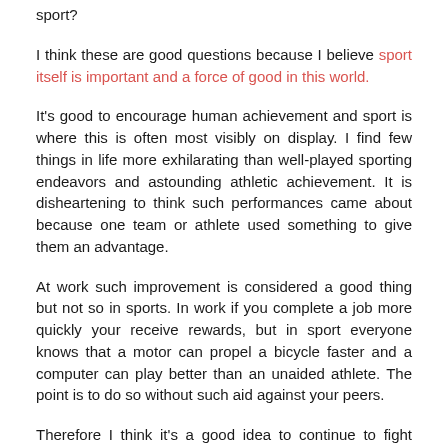sport?
I think these are good questions because I believe sport itself is important and a force of good in this world.
It's good to encourage human achievement and sport is where this is often most visibly on display. I find few things in life more exhilarating than well-played sporting endeavors and astounding athletic achievement. It is disheartening to think such performances came about because one team or athlete used something to give them an advantage.
At work such improvement is considered a good thing but not so in sports. In work if you complete a job more quickly your receive rewards, but in sport everyone knows that a motor can propel a bicycle faster and a computer can play better than an unaided athlete. The point is to do so without such aid against your peers.
Therefore I think it's a good idea to continue to fight against those who do not play by the rules. It is true that